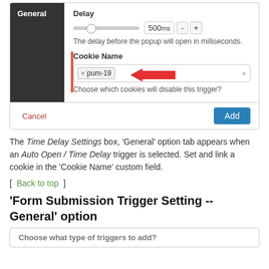[Figure (screenshot): UI settings panel showing 'General' sidebar tab, Delay slider set to 500ms with minus and plus buttons, Cookie Name field containing 'pum-19' tag with a red arrow pointing to it and a red vertical bar on the left, descriptive text, and Cancel/Add buttons at bottom.]
The Time Delay Settings box, 'General' option tab appears when an Auto Open / Time Delay trigger is selected. Set and link a cookie in the 'Cookie Name' custom field.
[ Back to top ]
'Form Submission Trigger Setting -- General' option
[Figure (screenshot): Partial UI panel bottom showing 'Choose what type of triggers to add?' label.]